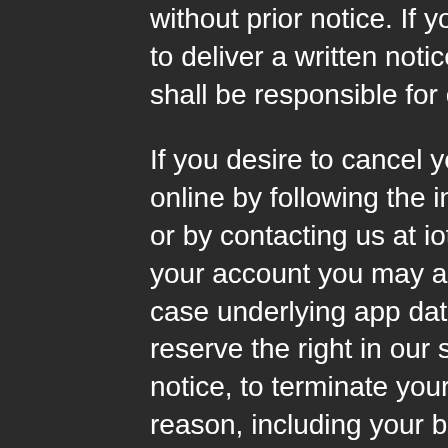without prior notice. If you need to export the data you need to deliver a written notice addressed to iot@blynk.cc. You shall be responsible for ensuring delivery of the notice to us.
If you desire to cancel your entire account, you can do so online by following the instructions from our documentation or by contacting us at iot@blynk.cc. In addition to cancelling your account you may also delete individual Apps, in which case underlying app data may not be recoverable. We reserve the right in our sole discretion, and without any prior notice, to terminate your access to the Service for any reason, including your breach of these Terms of Service, the terms and conditions of any service for which you may have registered, or a violation of the rights or another User or the law. You may unsubscribe from any